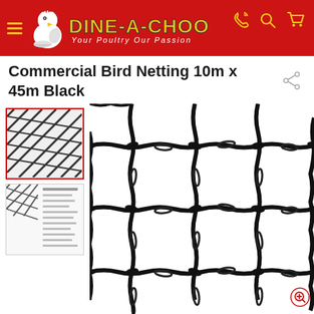[Figure (logo): Dine-A-Chook logo with red header, yellow text, chicken mascot, hamburger menu, and icons for phone, search, cart]
Commercial Bird Netting 10m x 45m Black
[Figure (photo): Close-up photo of black commercial bird netting showing the knotted mesh pattern in detail]
[Figure (photo): Small thumbnail of black bird netting close-up (selected, red border)]
[Figure (photo): Small thumbnail of bird netting product spec sheet]